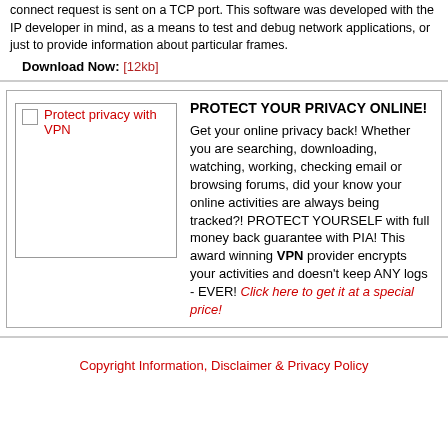connect request is sent on a TCP port. This software was developed with the IP developer in mind, as a means to test and debug network applications, or just to provide information about particular frames.
Download Now: [12kb]
[Figure (other): VPN advertisement banner with image placeholder and text promoting private internet access VPN service]
Copyright Information, Disclaimer & Privacy Policy